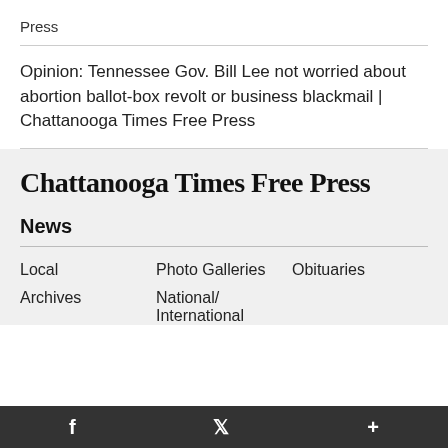Press
Opinion: Tennessee Gov. Bill Lee not worried about abortion ballot-box revolt or business blackmail | Chattanooga Times Free Press
[Figure (logo): Chattanooga Times Free Press masthead logo in blackletter/gothic font]
News
Local
Photo Galleries
Obituaries
Archives
National/ International
f  Twitter  +